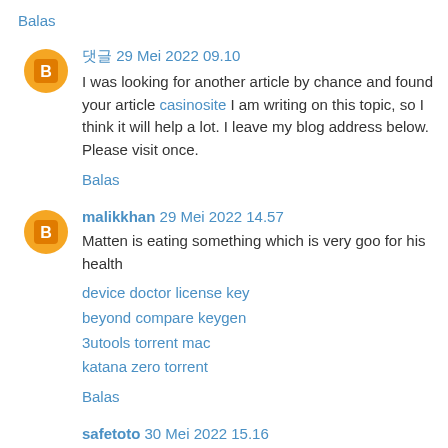Balas
댓글 29 Mei 2022 09.10
I was looking for another article by chance and found your article casinosite I am writing on this topic, so I think it will help a lot. I leave my blog address below. Please visit once.
Balas
malikkhan 29 Mei 2022 14.57
Matten is eating something which is very goo for his health
device doctor license key
beyond compare keygen
3utools torrent mac
katana zero torrent
Balas
safetoto 30 Mei 2022 15.16